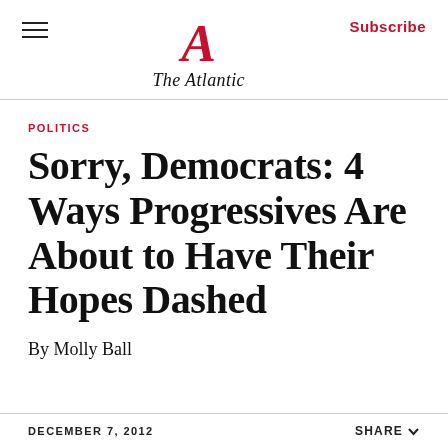The Atlantic
POLITICS
Sorry, Democrats: 4 Ways Progressives Are About to Have Their Hopes Dashed
By Molly Ball
DECEMBER 7, 2012   SHARE